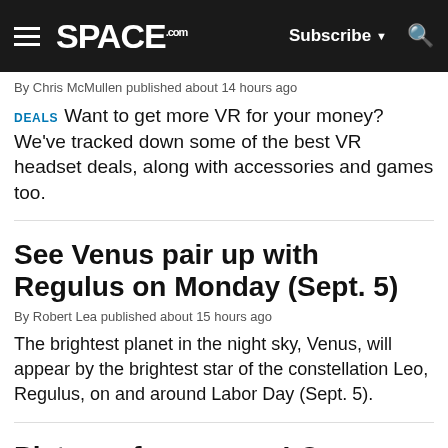SPACE.com — Subscribe — Search
By Chris McMullen published about 14 hours ago
DEALS  Want to get more VR for your money? We've tracked down some of the best VR headset deals, along with accessories and games too.
See Venus pair up with Regulus on Monday (Sept. 5)
By Robert Lea published about 15 hours ago
The brightest planet in the night sky, Venus, will appear by the brightest star of the constellation Leo, Regulus, on and around Labor Day (Sept. 5).
Pictures from space! Our image of the